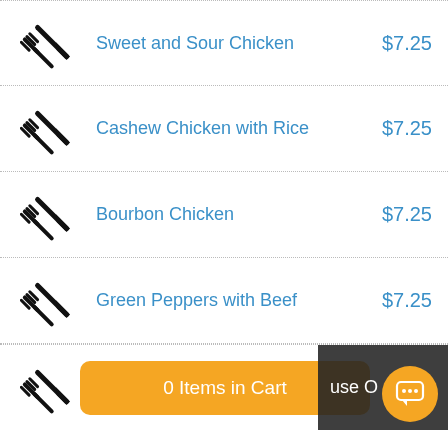Sweet and Sour Chicken $7.25
Cashew Chicken with Rice $7.25
Bourbon Chicken $7.25
Green Peppers with Beef $7.25
0 Items in Cart